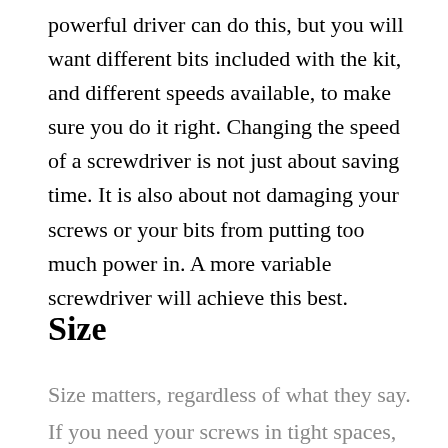powerful driver can do this, but you will want different bits included with the kit, and different speeds available, to make sure you do it right. Changing the speed of a screwdriver is not just about saving time. It is also about not damaging your screws or your bits from putting too much power in. A more variable screwdriver will achieve this best.
Size
Size matters, regardless of what they say. If you need your screws in tight spaces, then you will